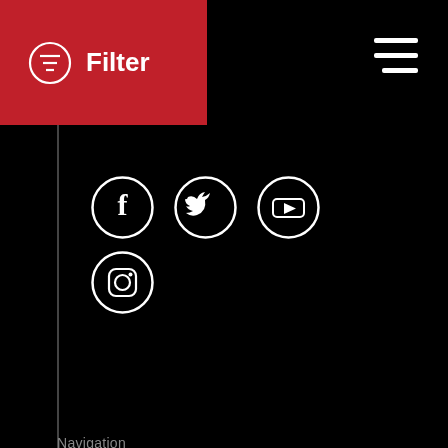[Figure (screenshot): Red filter button with filter icon and text 'Filter' on red background]
[Figure (other): Hamburger menu icon (three white lines) on black background, top right]
[Figure (other): Social media icons: Facebook, Twitter, YouTube in first row; Instagram in second row, white circle outline icons on black background]
Navigation
Home
Campus
Experiences